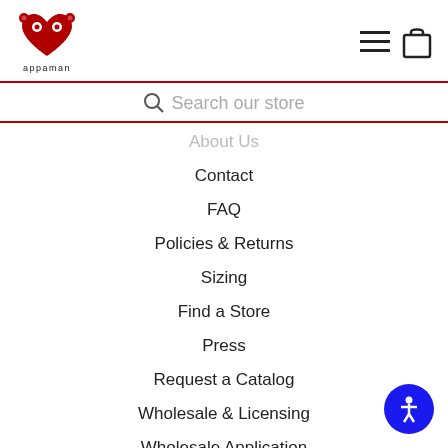[Figure (logo): Appaman brand logo: red monkey heart shape with text 'appaman' below]
Search our store
About Us (partial)
Contact
FAQ
Policies & Returns
Sizing
Find a Store
Press
Request a Catalog
Wholesale & Licensing
Wholesale Application
Careers
[Figure (illustration): Blue circular accessibility icon button with white person figure]